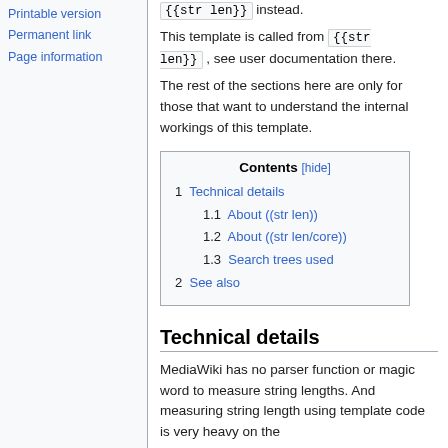Printable version
Permanent link
Page information
{{str len}} instead.
This template is called from {{str len}}, see user documentation there.
The rest of the sections here are only for those that want to understand the internal workings of this template.
| Contents [hide] |
| --- |
| 1 Technical details |
| 1.1 About ((str len)) |
| 1.2 About ((str len/core)) |
| 1.3 Search trees used |
| 2 See also |
Technical details
MediaWiki has no parser function or magic word to measure string lengths. And measuring string length using template code is very heavy on the